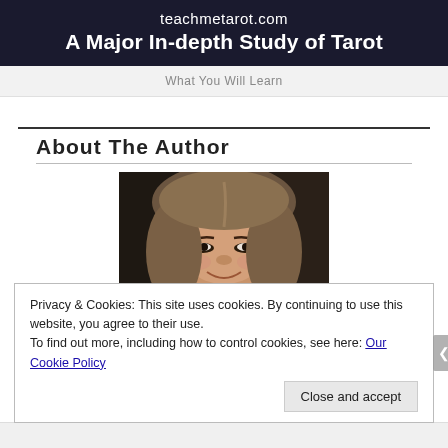[Figure (screenshot): teachmetarot.com website header banner with dark navy background showing site URL and tagline 'A Major In-depth Study of Tarot']
What You Will Learn
About The Author
[Figure (photo): Close-up photo of a smiling Asian woman with medium-length brown hair]
Privacy & Cookies: This site uses cookies. By continuing to use this website, you agree to their use.
To find out more, including how to control cookies, see here: Our Cookie Policy
Close and accept